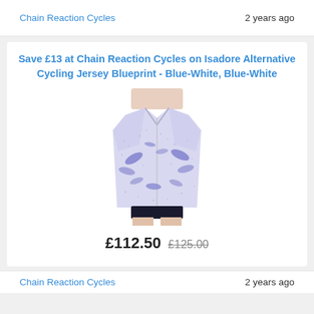Chain Reaction Cycles   2 years ago
Save £13 at Chain Reaction Cycles on Isadore Alternative Cycling Jersey Blueprint - Blue-White, Blue-White
[Figure (photo): Photo of a person wearing an Isadore Alternative Cycling Jersey in Blue-White with a botanical leaf pattern on a white/blue mosaic background]
£112.50  £125.00
Chain Reaction Cycles   2 years ago